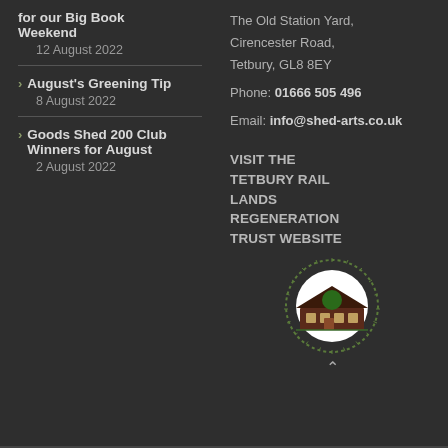for our Big Book Weekend
12 August 2022
August's Greening Tip
8 August 2022
Goods Shed 200 Club Winners for August
2 August 2022
The Old Station Yard, Cirencester Road, Tetbury, GL8 8EY
Phone: 01666 505 496
Email: info@shed-arts.co.uk
VISIT THE TETBURY RAIL LANDS REGENERATION TRUST WEBSITE
[Figure (logo): Tetbury Rail Lands Regeneration Trust circular logo with building illustration and radiating lines]